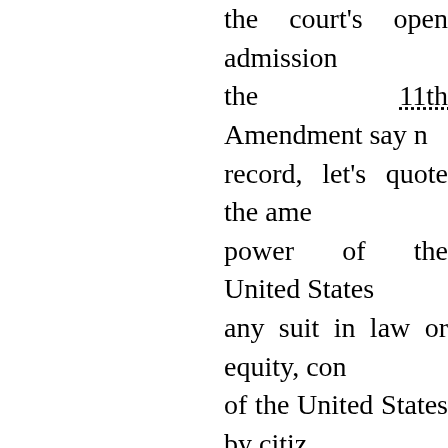the court's open admission the 11th Amendment say record, let's quote the ame power of the United States any suit in law or equity, co of the United States by citi or subjects of any foreign st
Writing for the majority, admits what the amendmen he and his colleagues i "'Although by its terms the against a state by citizens extended the amendment' against their own states."
... [This is] the basic majority claim it's only intere of the Constitution? By citin court is simply invoking its 11th Amendment to tell citiz